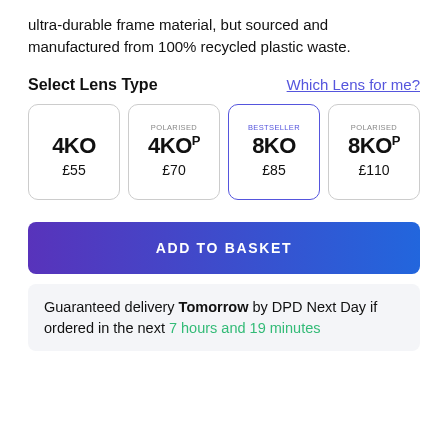ultra-durable frame material, but sourced and manufactured from 100% recycled plastic waste.
Select Lens Type
Which Lens for me?
| Lens | Badge | Price |
| --- | --- | --- |
| 4KO |  | £55 |
| 4KO P | POLARISED | £70 |
| 8KO | BESTSELLER | £85 |
| 8KO P | POLARISED | £110 |
ADD TO BASKET
Guaranteed delivery Tomorrow by DPD Next Day if ordered in the next 7 hours and 19 minutes